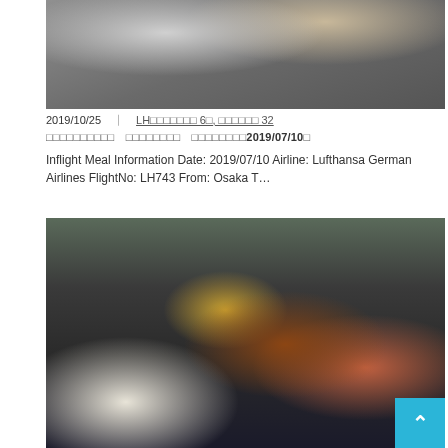[Figure (photo): Top portion of an airplane cabin meal photo showing glasses, a bowl with olives/snacks, and white linen on a tray table.]
2019/10/25  |  LH○○○○○○○ 6○, ○○○○○○ 32
○○○○○○○○○○○  ○○○○○○○○  ○○○○○○○○2019/07/10○
Inflight Meal Information Date: 2019/07/10 Airline: Lufthansa German Airlines FlightNo: LH743 From: Osaka T…
[Figure (photo): Lufthansa German Airlines inflight meal served in a Japanese bento box style tray. Red lacquered bento box with compartments containing teriyaki fish, tofu, egg, salad, and vegetables. A bowl of white rice on the left, a small black bowl, and a rolled napkin with chopsticks in front.]